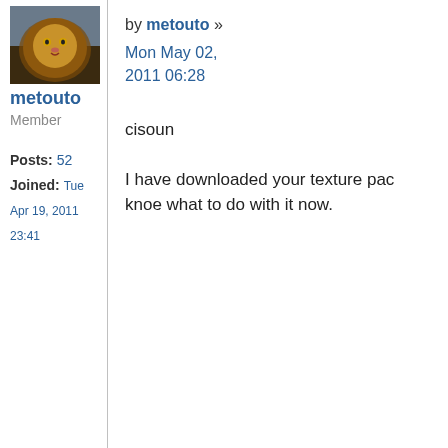[Figure (photo): Avatar image of a lion, used as profile picture for user metouto]
metouto
Member
Posts: 52
Joined: Tue Apr 19, 2011 23:41
by metouto »
Mon May 02,
2011 06:28
cisoun
I have downloaded your texture pac
knoe what to do with it now.